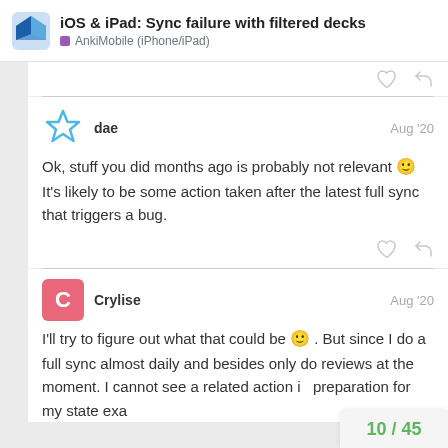iOS & iPad: Sync failure with filtered decks — AnkiMobile (iPhone/iPad)
dae — Aug '20
Ok, stuff you did months ago is probably not relevant 🙂 It's likely to be some action taken after the latest full sync that triggers a bug.
Crylise — Aug '20
I'll try to figure out what that could be 🙂 . But since I do a full sync almost daily and besides only do reviews at the moment. I cannot see a related action in preparation for my state exa